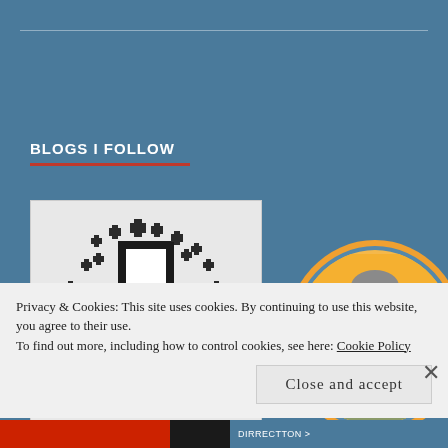BLOGS I FOLLOW
[Figure (illustration): Black and white logo showing a white Christian cross in the center surrounded by many small scattered crosses forming a circular pattern, on a light gray background.]
[Figure (photo): Profile photo of a middle-aged man with gray hair and beard, wearing an olive/green t-shirt with tattooed arms crossed, set inside a circular frame with an orange outer ring and blue inner border, against a yellow-orange background.]
Privacy & Cookies: This site uses cookies. By continuing to use this website, you agree to their use.
To find out more, including how to control cookies, see here: Cookie Policy
Close and accept